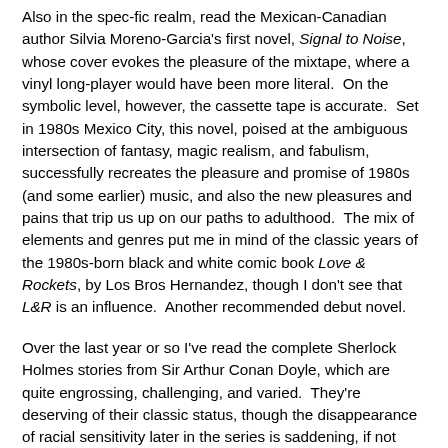Also in the spec-fic realm, read the Mexican-Canadian author Silvia Moreno-Garcia's first novel, Signal to Noise, whose cover evokes the pleasure of the mixtape, where a vinyl long-player would have been more literal.  On the symbolic level, however, the cassette tape is accurate.  Set in 1980s Mexico City, this novel, poised at the ambiguous intersection of fantasy, magic realism, and fabulism, successfully recreates the pleasure and promise of 1980s (and some earlier) music, and also the new pleasures and pains that trip us up on our paths to adulthood.  The mix of elements and genres put me in mind of the classic years of the 1980s-born black and white comic book Love & Rockets, by Los Bros Hernandez, though I don't see that L&R is an influence.  Another recommended debut novel.
Over the last year or so I've read the complete Sherlock Holmes stories from Sir Arthur Conan Doyle, which are quite engrossing, challenging, and varied.  They're deserving of their classic status, though the disappearance of racial sensitivity later in the series is saddening, if not wholly surprising.  I expanded my reading in Holmesian detective fiction to pastiches, and encountered Detective Crown Investigator Abigail Irene Garrett in Elizabeth Bear's fine